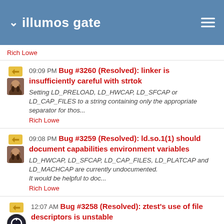illumos gate
Rich Lowe
09:09 PM Bug #3260 (Resolved): linker is insufficiently careful with strtok
Setting LD_PRELOAD, LD_HWCAP, LD_SFCAP or LD_CAP_FILES to a string containing only the appropriate separator for thos...
Rich Lowe
09:08 PM Bug #3259 (Resolved): ld.so.1(1) should document capabilities environment variables
LD_HWCAP, LD_SFCAP, LD_CAP_FILES, LD_PLATCAP and LD_MACHCAP are currently undocumented.
It would be helpful to doc...
Rich Lowe
12:07 AM Bug #3258 (Resolved): ztest's use of file descriptors is unstable
ztest uses fixed file descriptors to communicate with child